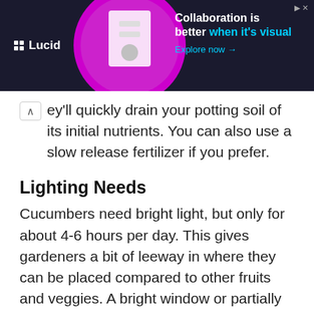[Figure (screenshot): Lucid advertisement banner with dark background, magenta circular illustration, and text 'Collaboration is better when it's visual. Explore now →']
ey'll quickly drain your potting soil of its initial nutrients. You can also use a slow release fertilizer if you prefer.
Lighting Needs
Cucumbers need bright light, but only for about 4-6 hours per day. This gives gardeners a bit of leeway in where they can be placed compared to other fruits and veggies. A bright window or partially shady spot both make good locations to grow cucumbers.
This lower light need also makes it easier to